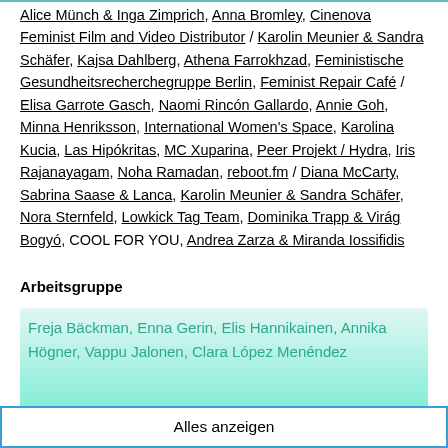Alice Münch & Inga Zimprich, Anna Bromley, Cinenova Feminist Film and Video Distributor / Karolin Meunier & Sandra Schäfer, Kajsa Dahlberg, Athena Farrokhzad, Feministische Gesundheitsrecherchegruppe Berlin, Feminist Repair Café / Elisa Garrote Gasch, Naomi Rincón Gallardo, Annie Goh, Minna Henriksson, International Women's Space, Karolina Kucia, Las Hipókritas, MC Xuparina, Peer Projekt / Hydra, Iris Rajanayagam, Noha Ramadan, reboot.fm / Diana McCarty, Sabrina Saase & Lanca, Karolin Meunier & Sandra Schäfer, Nora Sternfeld, Lowkick Tag Team, Dominika Trapp & Virág Bogyó, COOL FOR YOU, Andrea Zarza & Miranda Iossifidis
Arbeitsgruppe
Freja Bäckman, Enna Gerin, Elis Hannikainen, Annika Högner, Vappu Jalonen, Clara López Menéndez
Alles anzeigen